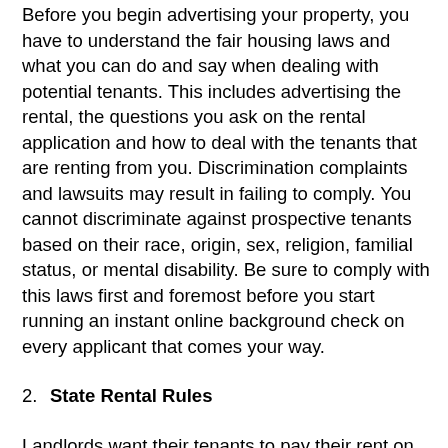Before you begin advertising your property, you have to understand the fair housing laws and what you can do and say when dealing with potential tenants. This includes advertising the rental, the questions you ask on the rental application and how to deal with the tenants that are renting from you. Discrimination complaints and lawsuits may result in failing to comply. You cannot discriminate against prospective tenants based on their race, origin, sex, religion, familial status, or mental disability. Be sure to comply with this laws first and foremost before you start running an instant online background check on every applicant that comes your way.
2. State Rental Rules
Landlords want their tenants to pay their rent on time and without having to go through too much hassle. If you want to raise the rent or evict a tenant that has not paid his or her rent, be sure to comply with the rules and procedures in California. For instance, there is a limit on how much you can charge for a bounced check and how much notice (three days) you can give a tenant that has not paid rent. Prior to doing this